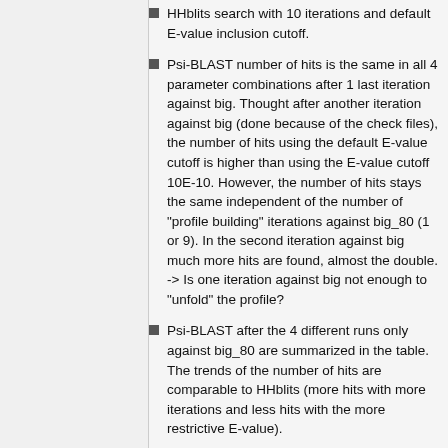HHblits search with 10 iterations and default E-value inclusion cutoff.
Psi-BLAST number of hits is the same in all 4 parameter combinations after 1 last iteration against big. Thought after another iteration against big (done because of the check files), the number of hits using the default E-value cutoff is higher than using the E-value cutoff 10E-10. However, the number of hits stays the same independent of the number of "profile building" iterations against big_80 (1 or 9). In the second iteration against big much more hits are found, almost the double. -> Is one iteration against big not enough to "unfold" the profile?
Psi-BLAST after the 4 different runs only against big_80 are summarized in the table. The trends of the number of hits are comparable to HHblits (more hits with more iterations and less hits with the more restrictive E-value).
Number of hits found by both HHblits and Psi-BLAST, only HHblits and BLAST i...